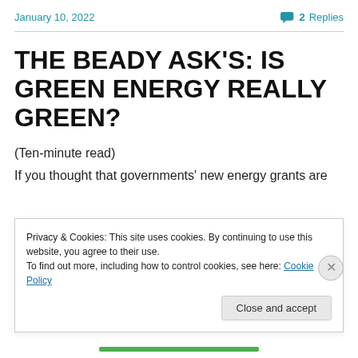January 10, 2022   2 Replies
THE BEADY ASK'S: IS GREEN ENERGY REALLY GREEN?
(Ten-minute read)
If you thought that governments' new energy grants are
Privacy & Cookies: This site uses cookies. By continuing to use this website, you agree to their use.
To find out more, including how to control cookies, see here: Cookie Policy
Close and accept